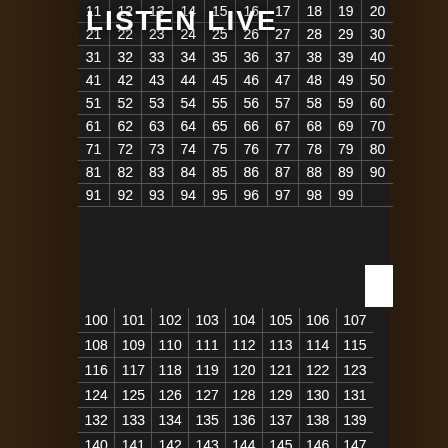LISTEN LIVE
| 11 | 12 | 13 | 14 | 15 | 16 | 17 | 18 | 19 | 20 |
| 21 | 22 | 23 | 24 | 25 | 26 | 27 | 28 | 29 | 30 |
| 31 | 32 | 33 | 34 | 35 | 36 | 37 | 38 | 39 | 40 |
| 41 | 42 | 43 | 44 | 45 | 46 | 47 | 48 | 49 | 50 |
| 51 | 52 | 53 | 54 | 55 | 56 | 57 | 58 | 59 | 60 |
| 61 | 62 | 63 | 64 | 65 | 66 | 67 | 68 | 69 | 70 |
| 71 | 72 | 73 | 74 | 75 | 76 | 77 | 78 | 79 | 80 |
| 81 | 82 | 83 | 84 | 85 | 86 | 87 | 88 | 89 | 90 |
| 91 | 92 | 93 | 94 | 95 | 96 | 97 | 98 | 99 |  |
| 100 | 101 | 102 | 103 | 104 | 105 | 106 | 107 |
| 108 | 109 | 110 | 111 | 112 | 113 | 114 | 115 |
| 116 | 117 | 118 | 119 | 120 | 121 | 122 | 123 |
| 124 | 125 | 126 | 127 | 128 | 129 | 130 | 131 |
| 132 | 133 | 134 | 135 | 136 | 137 | 138 | 139 |
| 140 | 141 | 142 | 143 | 144 | 145 | 146 | 147 |